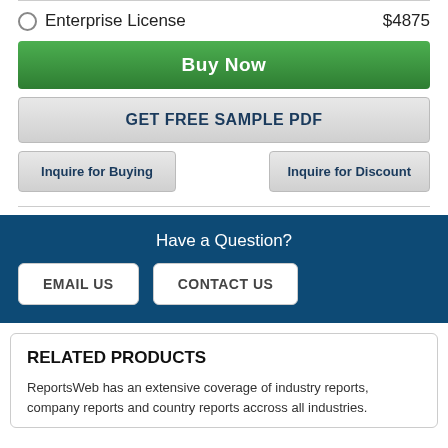Enterprise License  $4875
Buy Now
GET FREE SAMPLE PDF
Inquire for Buying
Inquire for Discount
Have a Question?
EMAIL US
CONTACT US
RELATED PRODUCTS
ReportsWeb has an extensive coverage of industry reports, company reports and country reports accross all industries.